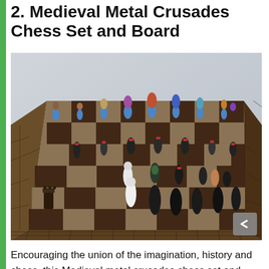2. Medieval Metal Crusades Chess Set and Board
[Figure (photo): A Medieval Metal Crusades Chess Set and Board showing medieval figurine chess pieces arranged on a chess board with castle-turret style raised border/frame made to look like stone battlements. The pieces include blue and colorfully painted medieval warrior figures.]
Encouraging the union of the imagination, history and chess, this Medieval metal crusades chess set and board is a piece of art and a thrill to play. The chess board is raised to replicate the turrets of a castle rooftop. The board